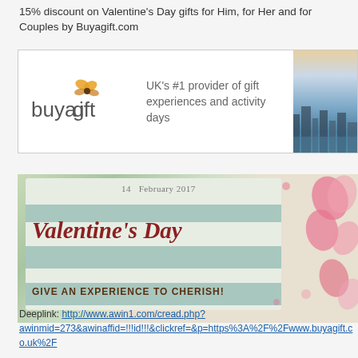15% discount on Valentine's Day gifts for Him, for Her and for Couples by Buyagift.com
[Figure (illustration): Buyagift.com advertisement banner with logo, tagline 'UK's #1 provider of gift experiences and activity days', and a photo of London skyline]
[Figure (photo): Valentine's Day promotional card reading '14 February 2017 Valentine's Day GIVE AN EXPERIENCE TO CHERISH!' with pink heart decorations on a teal/green background]
Deeplink: http://www.awin1.com/cread.php?awinmid=273&awinaffid=!!!id!!!&clickref=&p=https%3A%2F%2Fwww.buyagift.co.uk%2F